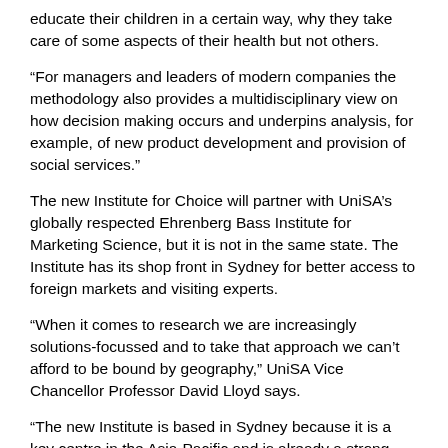educate their children in a certain way, why they take care of some aspects of their health but not others.
“For managers and leaders of modern companies the methodology also provides a multidisciplinary view on how decision making occurs and underpins analysis, for example, of new product development and provision of social services."
The new Institute for Choice will partner with UniSA’s globally respected Ehrenberg Bass Institute for Marketing Science, but it is not in the same state. The Institute has its shop front in Sydney for better access to foreign markets and visiting experts.
“When it comes to research we are increasingly solutions-focussed and to take that approach we can’t afford to be bound by geography," UniSA Vice Chancellor Professor David Lloyd says.
“The new Institute is based in Sydney because it is a key centre in the Asia-Pacific and is already a strong focus for business in the region. What the Institute can offer those businesses is access to leading academic and applied research relevant to consumer choice and consumer behaviours."